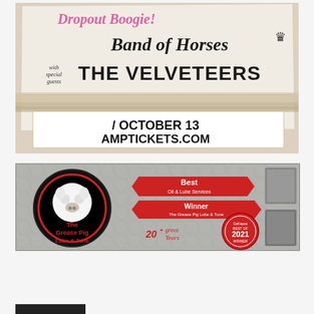[Figure (illustration): Concert advertisement poster for Band of Horses with special guests The Velveteers, October 13, amptickets.com]
[Figure (illustration): Advertisement for The Grease Pig Lube & Tune, showing Best Oil & Lube Services Winner, plus 20 great years, Best of 2021 Winner]